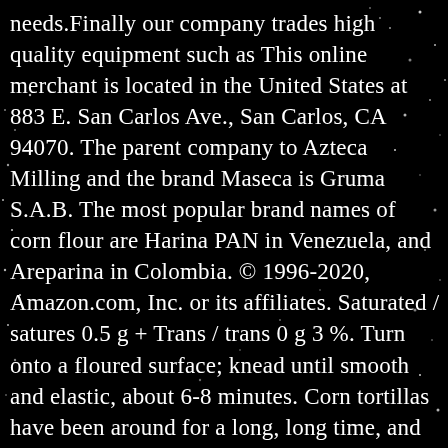needs.Finally our company trades high quality equipment such as This online merchant is located in the United States at 883 E. San Carlos Ave., San Carlos, CA 94070. The parent company to Azteca Milling and the brand Maseca is Gruma S.A.B. The most popular brand names of corn flour are Harina PAN in Venezuela, and Areparina in Colombia. © 1996-2020, Amazon.com, Inc. or its affiliates. Saturated / satures 0.5 g + Trans / trans 0 g 3 %. Turn onto a floured surface; knead until smooth and elastic, about 6-8 minutes. Corn tortillas have been around for a long, long time, and have been perfected by many major brands. Amazon.co.uk: corn flour Select Your Cookie Preferences We use cookies and similar tools to enhance your shopping experience, to provide our services, understand how customers use our services so we can make